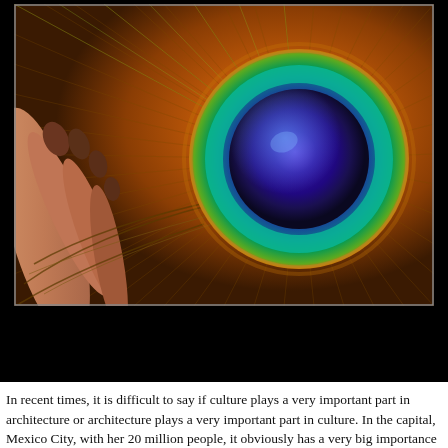[Figure (photo): Close-up macro photograph of a peacock feather showing the iridescent eye pattern with deep blue-purple center, surrounded by teal, green, orange and brown radiating barbules, held by human fingers visible at left.]
In recent times, it is difficult to say if culture plays a very important part in architecture or architecture plays a very important part in culture. In the capital, Mexico City, with her 20 million people, it obviously has a very big importance – since the entire population of Mexico is 100 million. Every new neighborhood that grows in the